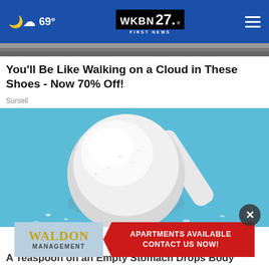69° WKBN FIRST NEWS 27.
[Figure (photo): Partial top strip of a photo, cropped]
You'll Be Like Walking on a Cloud in These Shoes - Now 70% Off!
Sursell
[Figure (photo): White measuring scoop filled with white powder on a blue background, with scattered powder particles around it]
[Figure (infographic): Waldon Management advertisement banner - APARTMENTS AVAILABLE CONTACT US NOW!]
A Teaspoon on an Empty Stomach Drops Body